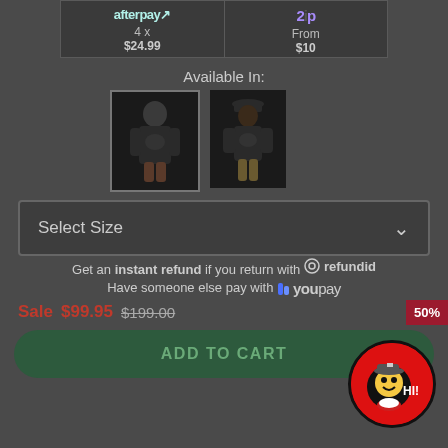[Figure (screenshot): Payment options: Afterpay 4x $24.99 and Zip from $10]
Available In:
[Figure (photo): Two product variant thumbnail images showing a hoodie worn by a female and male model]
Select Size (dropdown with chevron)
Get an instant refund if you return with refundid
Have someone else pay with youpay
Sale $99.95  $199.00
50%
ADD TO CART